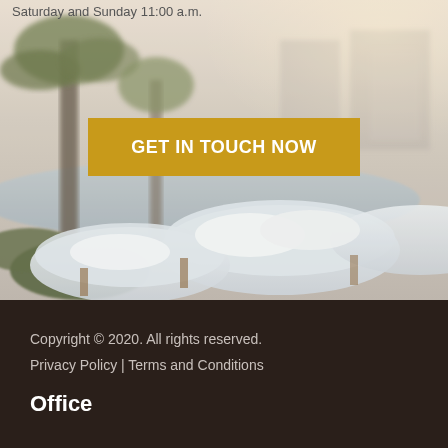Saturday and Sunday 11:00 a.m.
[Figure (photo): Outdoor pool area with white lounge chairs/daybeds and palm trees, bright sunny day, blurred background]
GET IN TOUCH NOW
Copyright © 2020. All rights reserved.
Privacy Policy | Terms and Conditions
Office